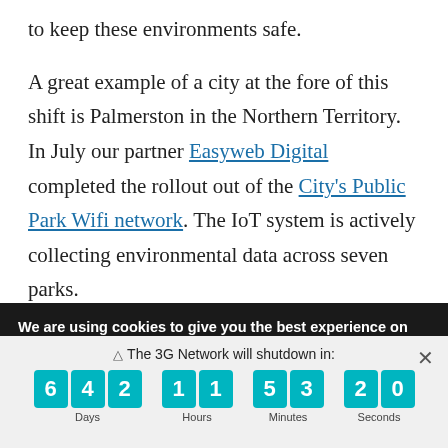to keep these environments safe.
A great example of a city at the fore of this shift is Palmerston in the Northern Territory. In July our partner Easyweb Digital completed the rollout out of the City's Public Park Wifi network. The IoT system is actively collecting environmental data across seven parks.
We are using cookies to give you the best experience on our website.
You can find out more about which cookies we are using or
⚠ The 3G Network will shutdown in:
6 4 2 | 1 1 | 5 3 | 2 0
Days | Hours | Minutes | Seconds